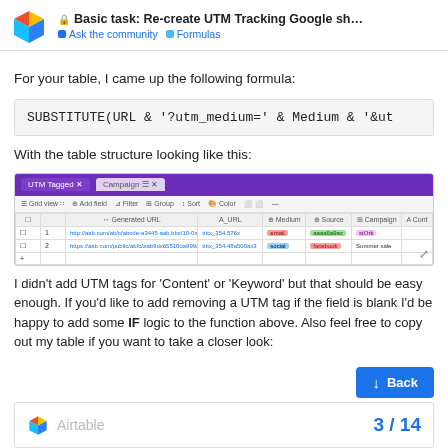Basic task: Re-create UTM Tracking Google sh... | Ask the community | Formulas
For your table, I came up the following formula:
With the table structure looking like this:
[Figure (screenshot): A screenshot of an Airtable base showing a UTM tracking table with columns for Generated URL, A_URL, Medium, Source, Campaign, and Content. The top bar is purple showing tabs 'UTM Tagged' and 'Campaign'. Two rows of data are visible with colored badge cells.]
I didn't add UTM tags for ‘Content’ or ‘Keyword’ but that should be easy enough. If you'd like to add removing a UTM tag if the field is blank I'd be happy to add some IF logic to the function above. Also feel free to copy out my table if you want to take a closer look:
[Figure (logo): Airtable logo with page number 3 / 14]